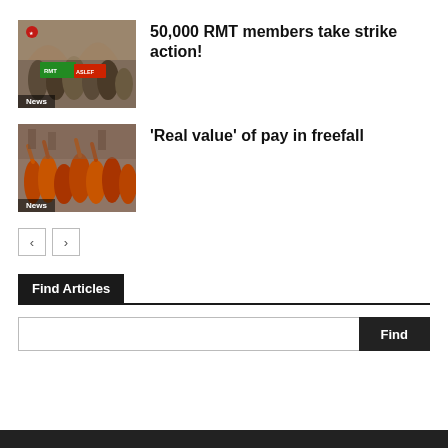[Figure (photo): Group of people holding RMT and ASLEF union flags, with a News tag overlay at bottom left]
50,000 RMT members take strike action!
[Figure (photo): Crowd of protesters with orange vests raising arms, with a News tag overlay at bottom left]
‘Real value’ of pay in freefall
< >
Find Articles
Find